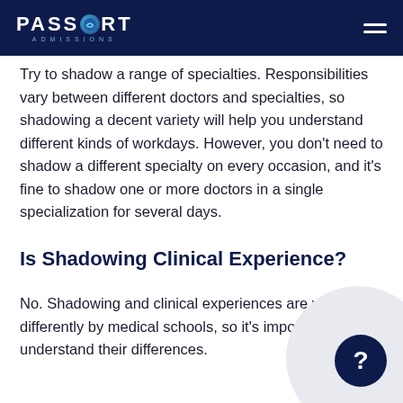PASSPORT ADMISSIONS
Try to shadow a range of specialties. Responsibilities vary between different doctors and specialties, so shadowing a decent variety will help you understand different kinds of workdays. However, you don't need to shadow a different specialty on every occasion, and it's fine to shadow one or more doctors in a single specialization for several days.
Is Shadowing Clinical Experience?
No. Shadowing and clinical experiences are viewed differently by medical schools, so it's important to understand their differences.